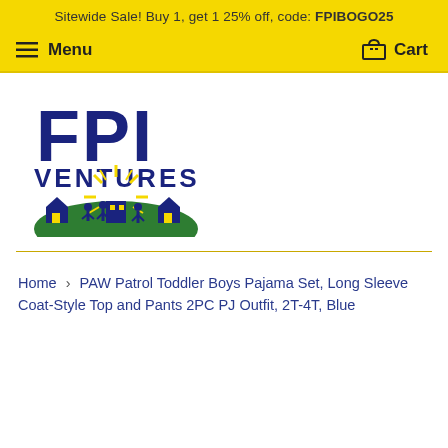Sitewide Sale! Buy 1, get 1 25% off, code: FPIBOGO25
Menu   Cart
[Figure (logo): FPI Ventures logo with blue text 'FPI VENTURES' and graphic of children and buildings on a green hill with yellow sunrays]
Home › PAW Patrol Toddler Boys Pajama Set, Long Sleeve Coat-Style Top and Pants 2PC PJ Outfit, 2T-4T, Blue